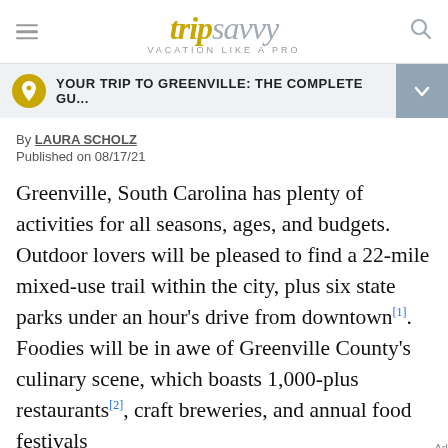tripsavvy VACATION LIKE A PRO
YOUR TRIP TO GREENVILLE: THE COMPLETE GU...
By LAURA SCHOLZ
Published on 08/17/21
Greenville, South Carolina has plenty of activities for all seasons, ages, and budgets. Outdoor lovers will be pleased to find a 22-mile mixed-use trail within the city, plus six state parks under an hour's drive from downtown[1]. Foodies will be in awe of Greenville County's culinary scene, which boasts 1,000-plus restaurants[2], craft breweries, and annual food festivals